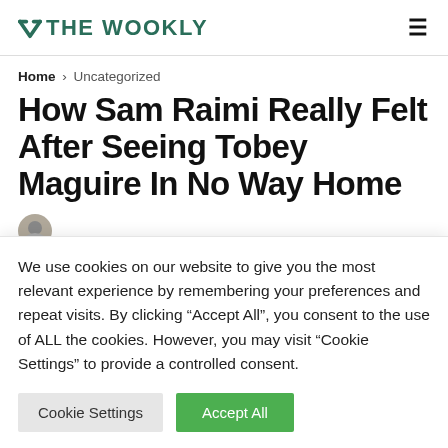THE WOOKLY
Home > Uncategorized
How Sam Raimi Really Felt After Seeing Tobey Maguire In No Way Home
We use cookies on our website to give you the most relevant experience by remembering your preferences and repeat visits. By clicking “Accept All”, you consent to the use of ALL the cookies. However, you may visit "Cookie Settings" to provide a controlled consent.